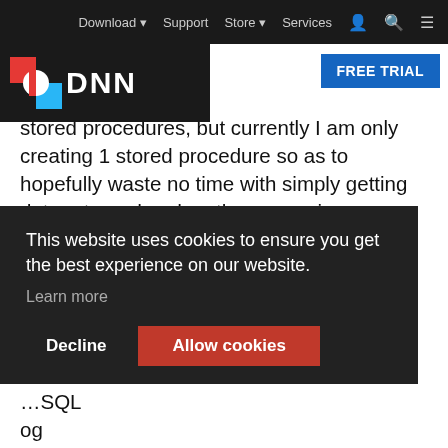Download  Support  Store  Services
[Figure (logo): DNN platform logo with red and blue D icon and white DNN text on dark background]
FREE TRIAL
stored procedure. I remind that by the end of this we will have used stored procedures, but currently I am only creating 1 stored procedure so as to hopefully waste no time with simply getting data returned and on the screen in our module. Most developers will create the majority of their stored procedures at the same time and there is nothing wrong with that. Though, when I was trying to learn I had difficulty mentally mapping
This website uses cookies to ensure you get the best experience on our website. Learn more
Decline
Allow cookies
SQL og